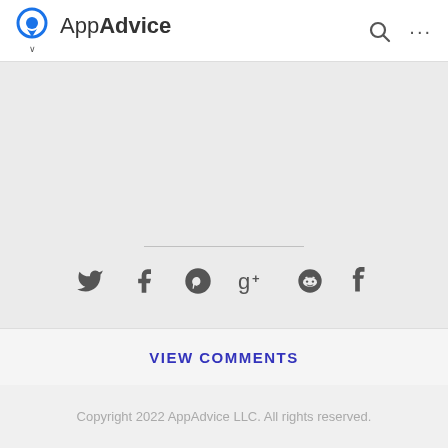AppAdvice
[Figure (screenshot): Social share icons row: Twitter, Facebook, Pinterest, Google+, Reddit, Tumblr]
VIEW COMMENTS
Copyright 2022 AppAdvice LLC. All rights reserved.